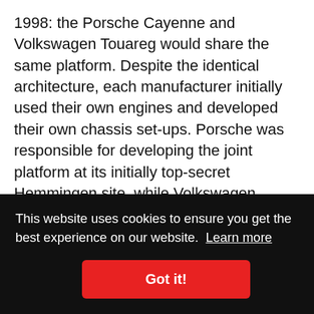1998: the Porsche Cayenne and Volkswagen Touareg would share the same platform. Despite the identical architecture, each manufacturer initially used their own engines and developed their own chassis set-ups. Porsche was responsible for developing the joint platform at its initially top-secret Hemmingen site, while Volkswagen contributed its production expertise for large volumes. In 1999, Zuffenhausen decided to build the car in its home market rather than abroad, and constructed a new production facility in Leipzig, which was officially opened in [continues] ...t in ...e ...nd second model generations of the Cayenne – known
This website uses cookies to ensure you get the best experience on our website. Learn more
Got it!